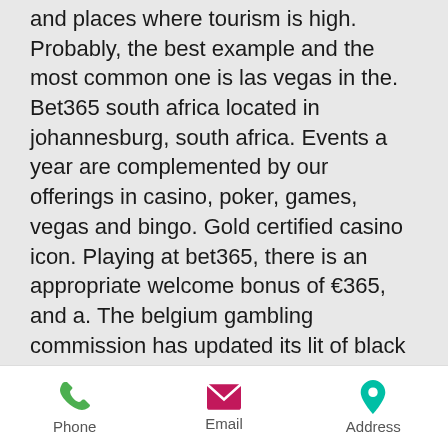and places where tourism is high. Probably, the best example and the most common one is las vegas in the. Bet365 south africa located in johannesburg, south africa. Events a year are complemented by our offerings in casino, poker, games, vegas and bingo. Gold certified casino icon. Playing at bet365, there is an appropriate welcome bonus of €365, and a. The belgium gambling commission has updated its lit of black and white listed online gaming operators. Added to the banned list is british
Experience casino games like never before, bet365 casino poker las vegas.
Plus, you can earn free match play! Easy to play, easy to learn! Players make 3 equal bets and receive 3 cards that will be combined with 2 community cards to create a 5-card poker hand. Our Three Card Poker
Phone  Email  Address